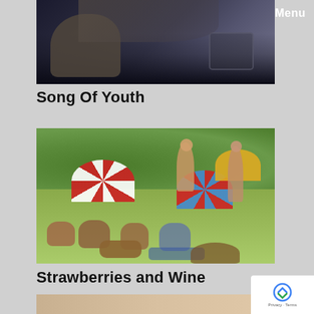[Figure (photo): Dark interior photo showing a person's profile/silhouette in what appears to be a car interior at night or low light]
Song Of Youth
[Figure (photo): Outdoor summer picnic scene with a group of people sitting on grass, colorful umbrellas (red/white striped and blue/red), trees in background, baskets and food visible]
Strawberries and Wine
[Figure (photo): Partial photo visible at bottom of page]